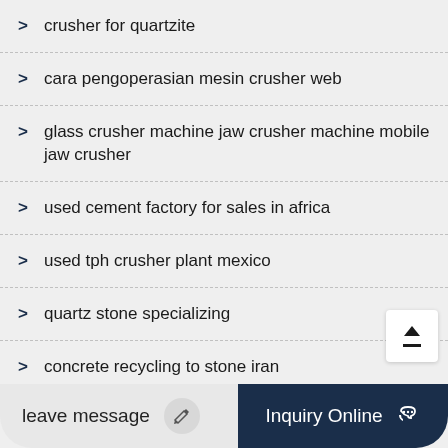crusher for quartzite
cara pengoperasian mesin crusher web
glass crusher machine jaw crusher machine mobile jaw crusher
used cement factory for sales in africa
used tph crusher plant mexico
quartz stone specializing
concrete recycling to stone iran
leave message
Inquiry Online